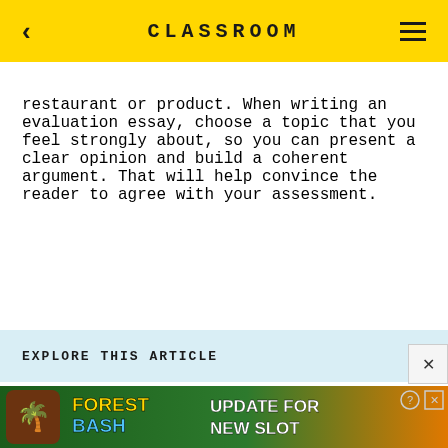CLASSROOM
restaurant or product. When writing an evaluation essay, choose a topic that you feel strongly about, so you can present a clear opinion and build a coherent argument. That will help convince the reader to agree with your assessment.
EXPLORE THIS ARTICLE
[Figure (other): Advertisement banner: Forest Bash - Update For New Slot game ad with jungle themed graphics]